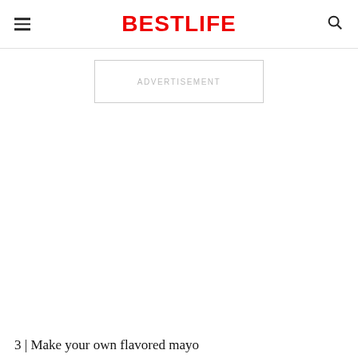BESTLIFE
ADVERTISEMENT
3 | Make your own flavored mayo